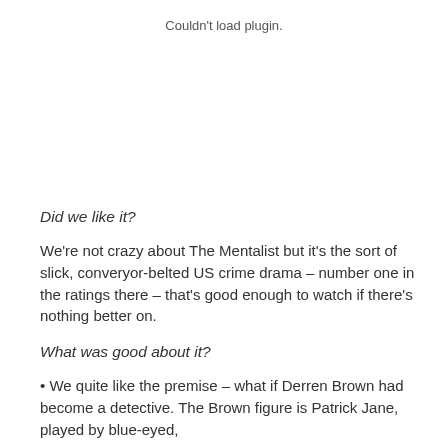Couldn't load plugin.
Did we like it?
We're not crazy about The Mentalist but it's the sort of slick, converyor-belted US crime drama – number one in the ratings there – that's good enough to watch if there's nothing better on.
What was good about it?
• We quite like the premise – what if Derren Brown had become a detective. The Brown figure is Patrick Jane, played by blue-eyed,